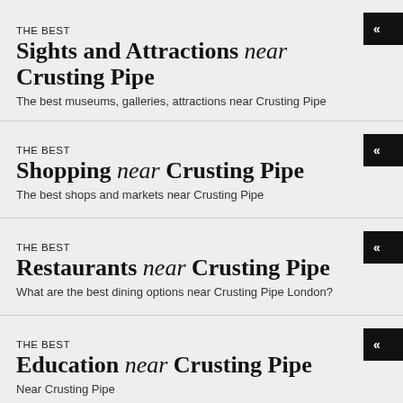THE BEST Sights and Attractions near Crusting Pipe
The best museums, galleries, attractions near Crusting Pipe
THE BEST Shopping near Crusting Pipe
The best shops and markets near Crusting Pipe
THE BEST Restaurants near Crusting Pipe
What are the best dining options near Crusting Pipe London?
THE BEST Education near Crusting Pipe
Near Crusting Pipe